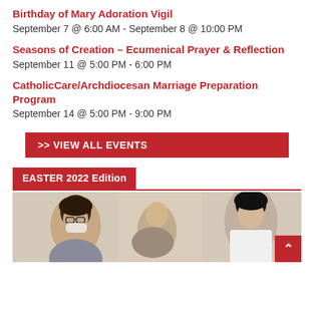Birthday of Mary Adoration Vigil
September 7 @ 6:00 AM - September 8 @ 10:00 PM
Seasons of Creation – Ecumenical Prayer & Reflection
September 11 @ 5:00 PM - 6:00 PM
CatholicCare/Archdiocesan Marriage Preparation Program
September 14 @ 5:00 PM - 9:00 PM
>> VIEW ALL EVENTS
EASTER 2022 Edition
[Figure (photo): People gathered, some wearing masks, looking downward, indoor setting]